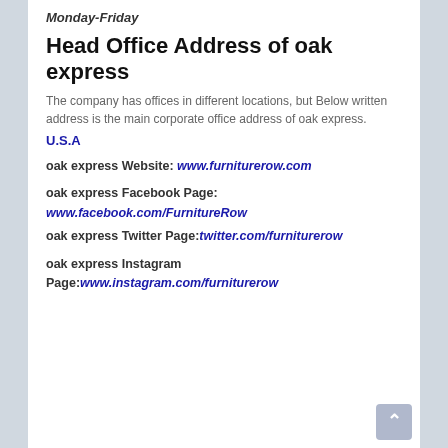Monday-Friday
Head Office Address of oak express
The company has offices in different locations, but Below written address is the main corporate office address of oak express.
U.S.A
oak express Website: www.furniturerow.com
oak express Facebook Page: www.facebook.com/FurnitureRow
oak express Twitter Page: twitter.com/furniturerow
oak express Instagram Page: www.instagram.com/furniturerow